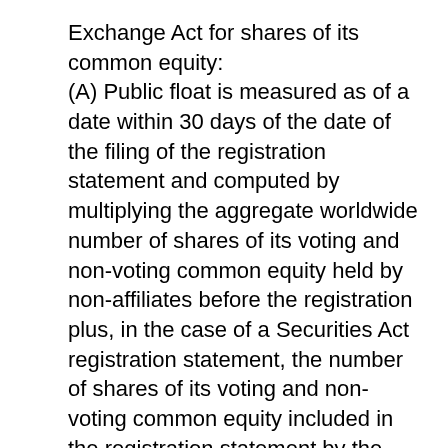Exchange Act for shares of its common equity: (A) Public float is measured as of a date within 30 days of the date of the filing of the registration statement and computed by multiplying the aggregate worldwide number of shares of its voting and non-voting common equity held by non-affiliates before the registration plus, in the case of a Securities Act registration statement, the number of shares of its voting and non-voting common equity included in the registration statement by the estimated public offering price of the shares; (B) A number...